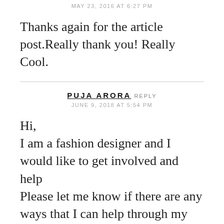MAY 23, 2016 AT 6:27 PM
Thanks again for the article post.Really thank you! Really Cool.
PUJA ARORA REPLY
JUNE 9, 2018 AT 5:54 PM
Hi,
I am a fashion designer and I would like to get involved and help
Please let me know if there are any ways that I can help through my work